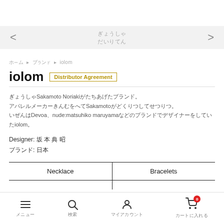< ぎょうしゃ / だいりてん >
ホーム ＞ ブランド ＞ iolom
iolom  Distributor Agreement
坂本典昭Sakamoto Noriakiが立ち上げたブランド。
アパレルメーカー勤務を経てSakamotoが独立して設立。
以前はDevoa、nude:matsuhiko maruyamaなどのブランドでデザイナーをしていたiolom。
Designer: 坂 本 典 昭
ブランド: 日本
Necklace    Bracelets
メニュー　　検索　　マイアカウント　　カートに入れる